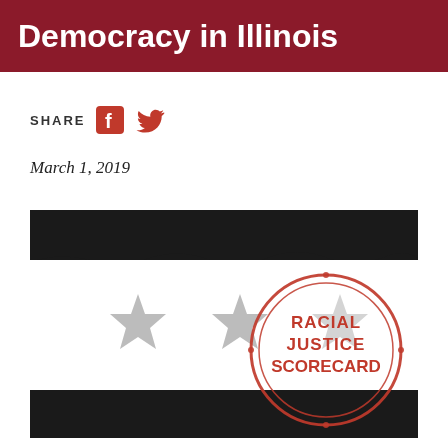Democracy in Illinois
SHARE
March 1, 2019
[Figure (illustration): Chicago flag stylized illustration with two black horizontal bars, grey stars, and a red circular stamp overlay reading 'RACIAL JUSTICE SCORECARD']